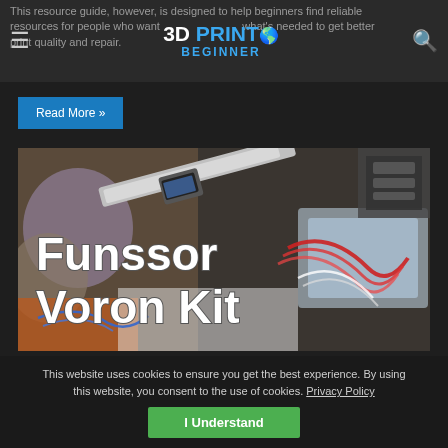3D PRINT BEGINNER
This resource guide, however, is designed to help beginners find reliable resources for people who want to learn what's needed to get better print quality and repair.
Read More »
[Figure (photo): Photo showing 3D printer parts and components for the Funssor Voron Kit, with text overlay reading 'Funssor Voron Kit']
whoppingpochard   February 11, 2021   5
Funssor Voron Kit – A detailed look at all
This website uses cookies to ensure you get the best experience. By using this website, you consent to the use of cookies. Privacy Policy
I Understand